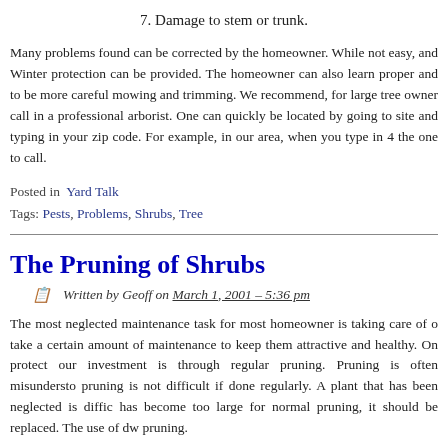7. Damage to stem or trunk.
Many problems found can be corrected by the homeowner. While not easy, and Winter protection can be provided. The homeowner can also learn proper and to be more careful mowing and trimming. We recommend, for large tree owner call in a professional arborist. One can quickly be located by going to site and typing in your zip code. For example, in our area, when you type in 4 the one to call.
Posted in  Yard Talk
Tags: Pests, Problems, Shrubs, Tree
The Pruning of Shrubs
Written by Geoff on March 1, 2001 – 5:36 pm
The most neglected maintenance task for most homeowner is taking care of o take a certain amount of maintenance to keep them attractive and healthy. On protect our investment is through regular pruning. Pruning is often misundersto pruning is not difficult if done regularly. A plant that has been neglected is diffic has become too large for normal pruning, it should be replaced. The use of dw pruning.
The best time for pruning most shrubs is in the early spring while the plants late summer and early fall, as this may force late growth that will be damaged